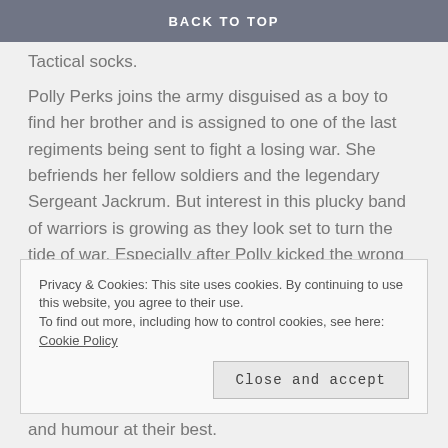BACK TO TOP
Tactical socks.
Polly Perks joins the army disguised as a boy to find her brother and is assigned to one of the last regiments being sent to fight a losing war. She befriends her fellow soldiers and the legendary Sergeant Jackrum. But interest in this plucky band of warriors is growing as they look set to turn the tide of war. Especially after Polly kicked the wrong person’s sock drawer.
Privacy & Cookies: This site uses cookies. By continuing to use this website, you agree to their use.
To find out more, including how to control cookies, see here: Cookie Policy
Close and accept
and humour at their best.